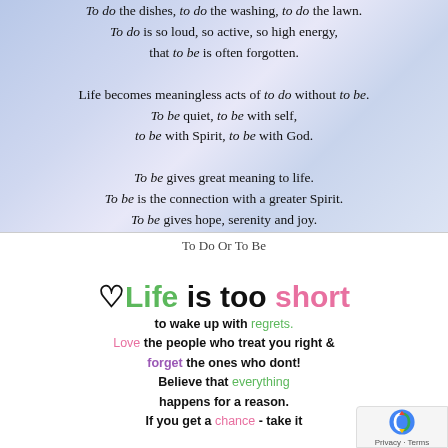[Figure (illustration): Inspirational poem on a blue sky/cloud gradient background. Text reads: 'To do the dishes, to do the washing, to do the lawn. To do is so loud, so active, so high energy, that to be is often forgotten. Life becomes meaningless acts of to do without to be. To be quiet, to be with self, to be with Spirit, to be with God. To be gives great meaning to life. To be is the connection with a greater Spirit. To be gives hope, serenity and joy.']
To Do Or To Be
[Figure (illustration): Colorful motivational quote image on white background. Heart icon followed by 'Life is too short' in large mixed-color text, then smaller text: 'to wake up with regrets. Love the people who treat you right & forget the ones who dont! Believe that everything happens for a reason. If you get a chance - take it'. With reCAPTCHA privacy badge in bottom right.]